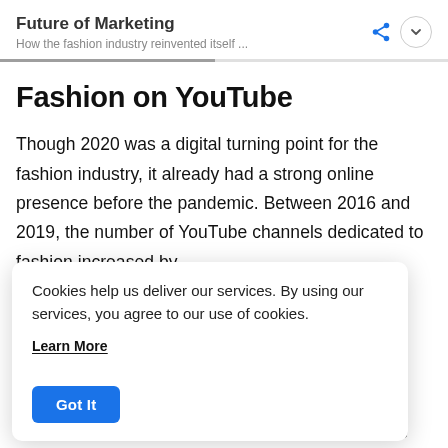Future of Marketing
How the fashion industry reinvented itself ...
Fashion on YouTube
Though 2020 was a digital turning point for the fashion industry, it already had a strong online presence before the pandemic. Between 2016 and 2019, the number of YouTube channels dedicated to fashion increased by
Cookies help us deliver our services. By using our services, you agree to our use of cookies.
Learn More
Got It
Karlie Kloss, and Naomi Campbell have been using